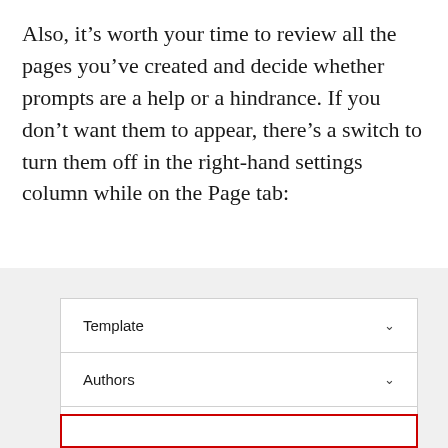Also, it's worth your time to review all the pages you've created and decide whether prompts are a help or a hindrance. If you don't want them to appear, there's a switch to turn them off in the right-hand settings column while on the Page tab:
[Figure (screenshot): Screenshot of a WordPress/Newspack settings sidebar panel showing collapsible sections: Template (with chevron), Authors (with chevron), Newspack Ads Settings (with chevron), and a fourth row highlighted with a red border at the bottom.]